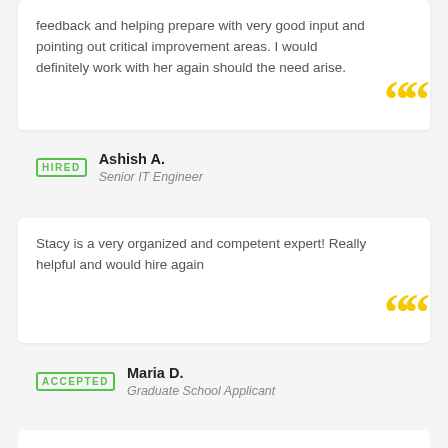feedback and helping prepare with very good input and pointing out critical improvement areas. I would definitely work with her again should the need arise.
Ashish A. — Senior IT Engineer — HIRED
Stacy is a very organized and competent expert! Really helpful and would hire again
Maria D. — Graduate School Applicant — ACCEPTED